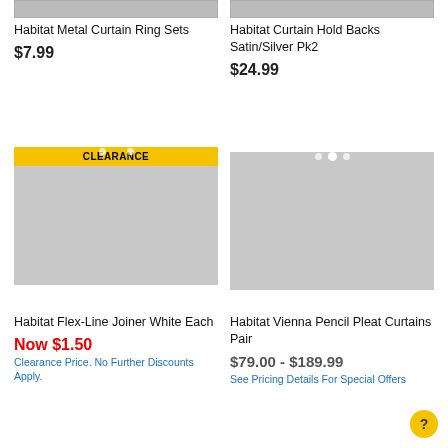[Figure (photo): Top portion of product image for Habitat Metal Curtain Ring Sets (partially visible, gray background)]
[Figure (photo): Top portion of product image for Habitat Curtain Hold Backs Satin/Silver Pk2 (partially visible, gray background with metal hooks)]
Habitat Metal Curtain Ring Sets
$7.99
Habitat Curtain Hold Backs Satin/Silver Pk2
$24.99
[Figure (photo): Product image placeholder for Habitat Flex-Line Joiner White Each with CLEARANCE banner]
[Figure (photo): Product image placeholder for Habitat Vienna Pencil Pleat Curtains Pair]
Habitat Flex-Line Joiner White Each
Now $1.50
Clearance Price. No Further Discounts Apply.
Habitat Vienna Pencil Pleat Curtains Pair
$79.00 - $189.99
See Pricing Details For Special Offers